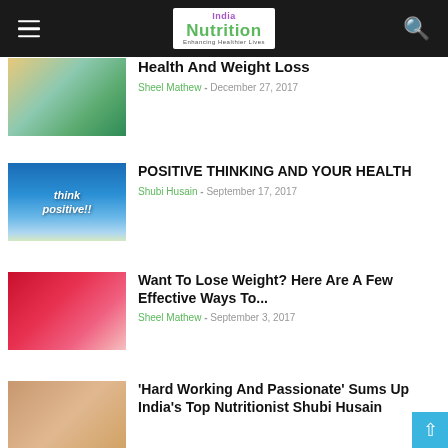India Nutrition - Enhancing Healthier Lives
[Figure (photo): Two women exercising, one in green top with yellow towel]
Health And Weight Loss
Sheel Mathew - December 27, 2017
[Figure (photo): Blue sky with text think positive!!]
POSITIVE THINKING AND YOUR HEALTH
Shubi Husain - September 17, 2017
[Figure (photo): Woman in red dress holding waist]
Want To Lose Weight? Here Are A Few Effective Ways To...
Sheel Mathew - September 3, 2017
[Figure (photo): Woman nutritionist portrait]
'Hard Working And Passionate' Sums Up India's Top Nutritionist Shubi Husain